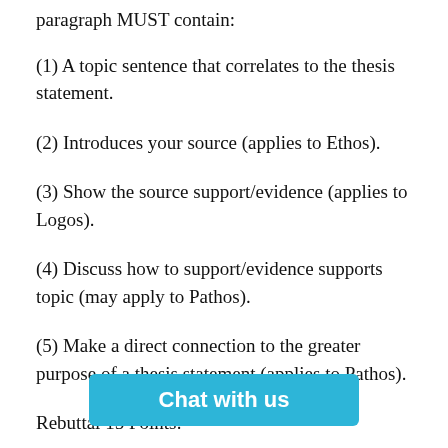paragraph MUST contain:
(1) A topic sentence that correlates to the thesis statement.
(2) Introduces your source (applies to Ethos).
(3) Show the source support/evidence (applies to Logos).
(4) Discuss how to support/evidence supports topic (may apply to Pathos).
(5) Make a direct connection to the greater purpose of a thesis statement (applies to Pathos).
Rebuttal 15 Points:
(1) State what... (generally
[Figure (other): Blue 'Chat with us' button overlay at the bottom of the page]